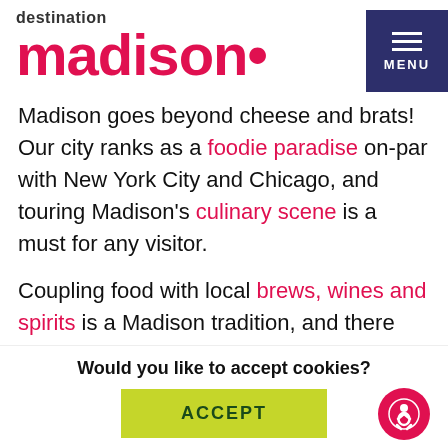[Figure (logo): Destination Madison logo with red stylized 'madison' wordmark and dark text 'destination' above]
Madison goes beyond cheese and brats! Our city ranks as a foodie paradise on-par with New York City and Chicago, and touring Madison's culinary scene is a must for any visitor.
Coupling food with local brews, wines and spirits is a Madison tradition, and there are many micro-breweries and wineries in the area, including Vintage Brewing
Would you like to accept cookies?
ACCEPT